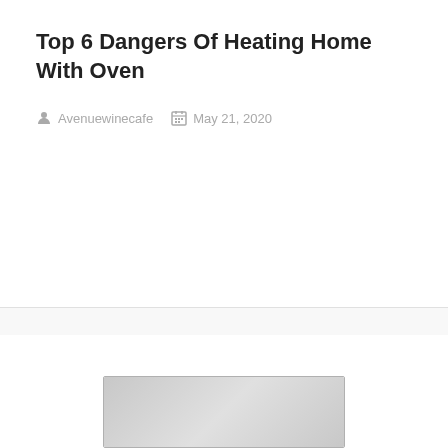Top 6 Dangers Of Heating Home With Oven
Avenuewinecafe   May 21, 2020
[Figure (photo): Partially visible image at bottom of page, appears to be an oven or kitchen appliance]